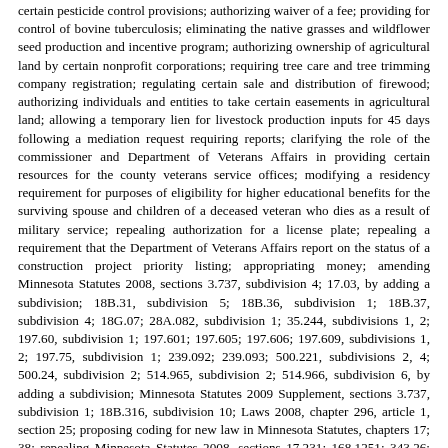certain pesticide control provisions; authorizing waiver of a fee; providing for control of bovine tuberculosis; eliminating the native grasses and wildflower seed production and incentive program; authorizing ownership of agricultural land by certain nonprofit corporations; requiring tree care and tree trimming company registration; regulating certain sale and distribution of firewood; authorizing individuals and entities to take certain easements in agricultural land; allowing a temporary lien for livestock production inputs for 45 days following a mediation request requiring reports; clarifying the role of the commissioner and Department of Veterans Affairs in providing certain resources for the county veterans service offices; modifying a residency requirement for purposes of eligibility for higher educational benefits for the surviving spouse and children of a deceased veteran who dies as a result of military service; repealing authorization for a license plate; repealing a requirement that the Department of Veterans Affairs report on the status of a construction project priority listing; appropriating money; amending Minnesota Statutes 2008, sections 3.737, subdivision 4; 17.03, by adding a subdivision; 18B.31, subdivision 5; 18B.36, subdivision 1; 18B.37, subdivision 4; 18G.07; 28A.082, subdivision 1; 35.244, subdivisions 1, 2; 197.60, subdivision 1; 197.601; 197.605; 197.606; 197.609, subdivisions 1, 2; 197.75, subdivision 1; 239.092; 239.093; 500.221, subdivisions 2, 4; 500.24, subdivision 2; 514.965, subdivision 2; 514.966, subdivision 6, by adding a subdivision; Minnesota Statutes 2009 Supplement, sections 3.737, subdivision 1; 18B.316, subdivision 10; Laws 2008, chapter 296, article 1, section 25; proposing coding for new law in Minnesota Statutes, chapters 17; 38; repealing Minnesota Statutes 2008, sections 17.231; 168.1251; 343.26; Laws 2009, chapter 94, article 3, section 23.
The bill was read for the third time, as amended, and placed upon its final passage.
The question was taken on the passage of the bill and the roll was called.
Pursuant to rule 2.05, Holberg was excused from voting on the final passage